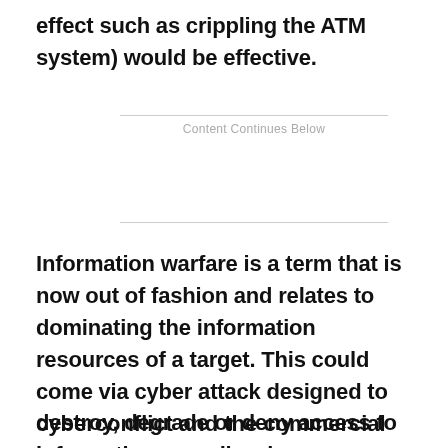effect such as crippling the ATM system) would be effective.
Content Continues Below
Information warfare is a term that is now out of fashion and relates to dominating the information resources of a target. This could come via cyber attack designed to destroy, degrade or deny access to information as well as by ‘propaganda’ designed to influence the target’s behavior and perceptions.
cyberconflict and the commercial sector